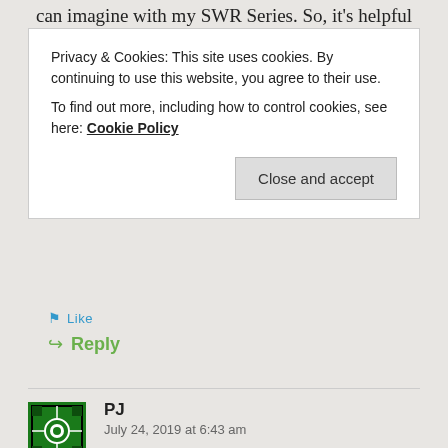can imagine with my SWR Series. So, it's helpful
Privacy & Cookies: This site uses cookies. By continuing to use this website, you agree to their use.
To find out more, including how to control cookies, see here: Cookie Policy
Like
Reply
PJ
July 24, 2019 at 6:43 am
I am a few months behind you. So far, in 10 months, the minutes I have missed work is a big fat zero. I tend to just tell people I am on a career break. I have revealed to a few people that my career break is intended to last around 45 years!